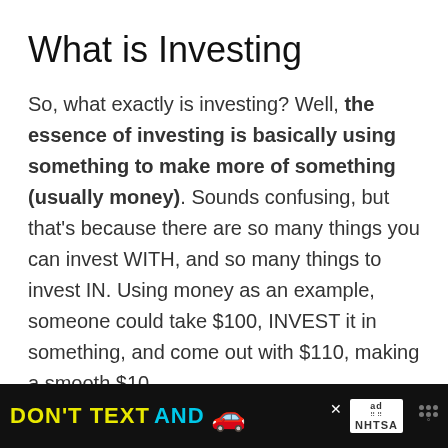What is Investing
So, what exactly is investing? Well, the essence of investing is basically using something to make more of something (usually money). Sounds confusing, but that’s because there are so many things you can invest WITH, and so many things to invest IN. Using money as an example, someone could take $100, INVEST it in something, and come out with $110, making a smooth $10
[Figure (other): Advertisement banner: DON'T TEXT AND [car emoji] with ad badge and NHTSA logo on black background]